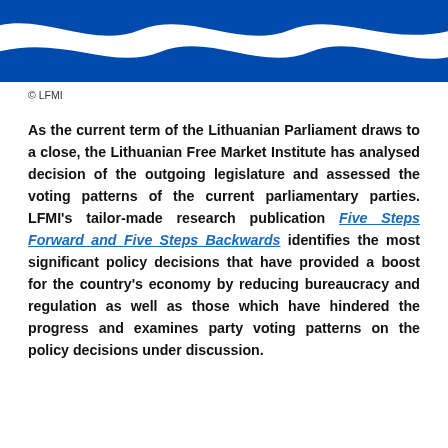[Figure (logo): LFMI logo — blue background with white wave pattern]
© LFMI
As the current term of the Lithuanian Parliament draws to a close, the Lithuanian Free Market Institute has analysed decision of the outgoing legislature and assessed the voting patterns of the current parliamentary parties. LFMI's tailor-made research publication Five Steps Forward and Five Steps Backwards identifies the most significant policy decisions that have provided a boost for the country's economy by reducing bureaucracy and regulation as well as those which have hindered the progress and examines party voting patterns on the policy decisions under discussion.